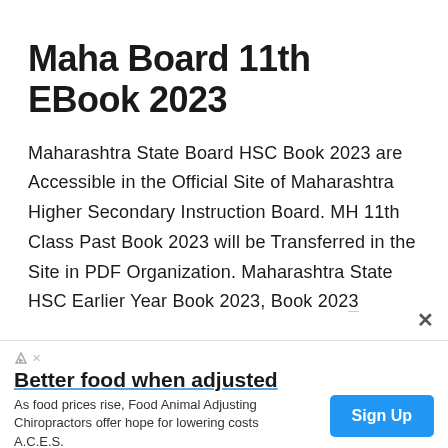Maha Board 11th EBook 2023
Maharashtra State Board HSC Book 2023 are Accessible in the Official Site of Maharashtra Higher Secondary Instruction Board. MH 11th Class Past Book 2023 will be Transferred in the Site in PDF Organization. Maharashtra State HSC Earlier Year Book 2023, Book 2023
[Figure (other): Advertisement banner: Better food when adjusted. As food prices rise, Food Animal Adjusting Chiropractors offer hope for lowering costs A.C.E.S. with a Sign Up button.]